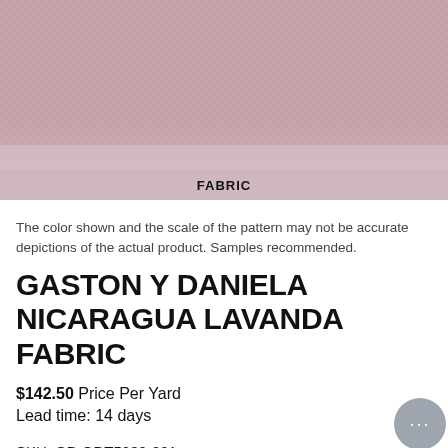[Figure (photo): Close-up photograph of dusty pink/lavender woven fabric texture, showing fine linen-like weave. The word FABRIC appears in bold text overlaid at the bottom center of the image.]
The color shown and the scale of the pattern may not be accurate depictions of the actual product. Samples recommended.
GASTON Y DANIELA NICARAGUA LAVANDA FABRIC
$142.50 Price Per Yard
Lead time: 14 days
SKU: GD GDT5239-001
Quantity